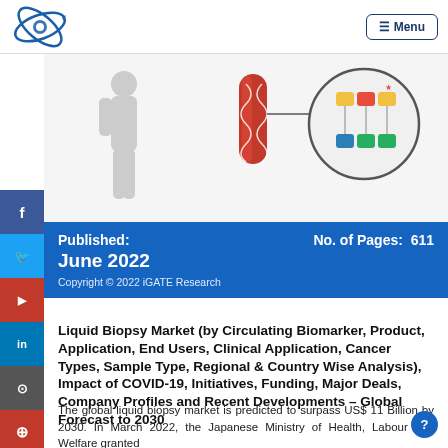Menu
[Figure (illustration): Website page header showing a company logo (blue circular gear/arrow icon) on the left and a Menu button on the top right. Below is a cropped infographic showing a human body silhouette, a red DNA test tube, and a circular diagram with colored cells/biomarkers.]
Published: June 2022    No. of Pages: 611
Copyright © 2022 iGATE Research
Liquid Biopsy Market (by Circulating Biomarker, Product, Application, End Users, Clinical Application, Cancer Types, Sample Type, Regional & Country Wise Analysis), Impact of COVID-19, Initiatives, Funding, Major Deals, Company Profiles and Recent Developments – Global Forecast to 2030
The global liquid biopsy market is predicted to surpass US$ 11 Billion by 2030. In March 2022, the Japanese Ministry of Health, Labour and Welfare granted